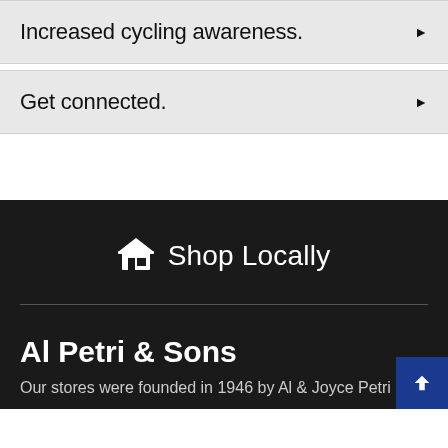Increased cycling awareness.
Get connected.
Shop Locally
Al Petri & Sons
Our stores were founded in 1946 by Al & Joyce Petri